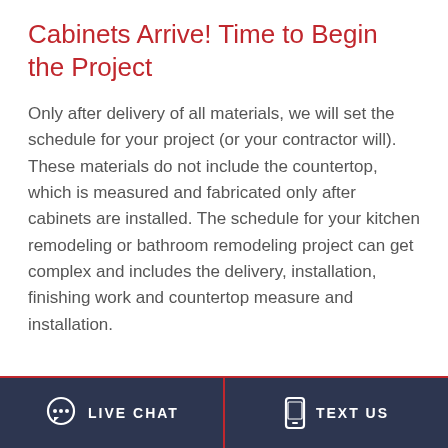Cabinets Arrive! Time to Begin the Project
Only after delivery of all materials, we will set the schedule for your project (or your contractor will). These materials do not include the countertop, which is measured and fabricated only after cabinets are installed. The schedule for your kitchen remodeling or bathroom remodeling project can get complex and includes the delivery, installation, finishing work and countertop measure and installation.
LIVE CHAT   TEXT US